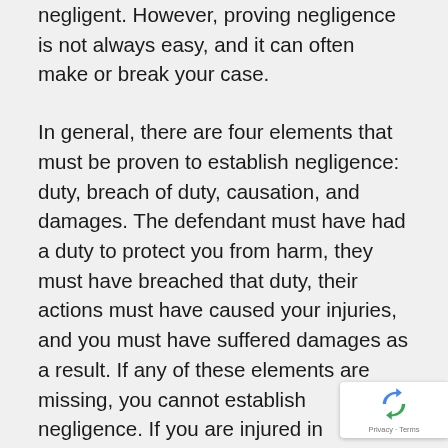negligent. However, proving negligence is not always easy, and it can often make or break your case.
In general, there are four elements that must be proven to establish negligence: duty, breach of duty, causation, and damages. The defendant must have had a duty to protect you from harm, they must have breached that duty, their actions must have caused your injuries, and you must have suffered damages as a result. If any of these elements are missing, you cannot establish negligence. If you are injured in an accident, it is important to speak with...